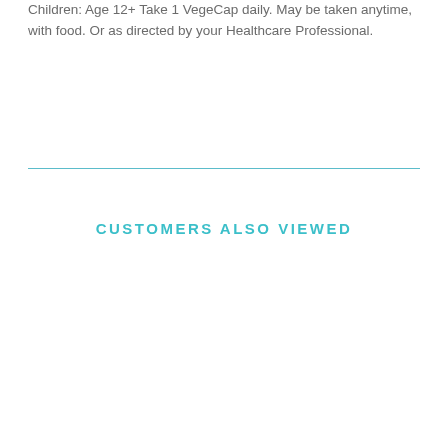Children: Age 12+ Take 1 VegeCap daily. May be taken anytime, with food. Or as directed by your Healthcare Professional.
CUSTOMERS ALSO VIEWED